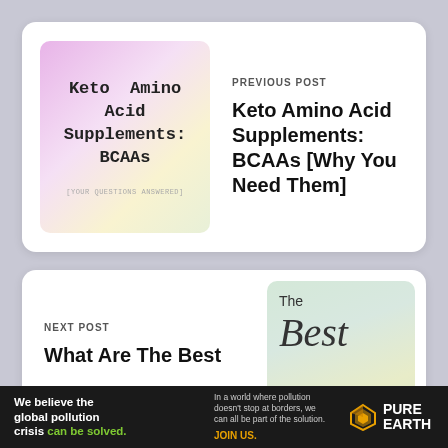[Figure (illustration): Thumbnail image with gradient background (pink/lavender to yellow-green) showing text: Keto Amino Acid Supplements: BCAAs with subtitle [YOUR QUESTIONS ANSWERED]]
PREVIOUS POST
Keto Amino Acid Supplements: BCAAs [Why You Need Them]
NEXT POST
What Are The Best
[Figure (illustration): Thumbnail image with green/yellow gradient background showing text: The Best in script/italic font]
We believe the global pollution crisis can be solved. In a world where pollution doesn't stop at borders, we can all be part of the solution. JOIN US. PURE EARTH